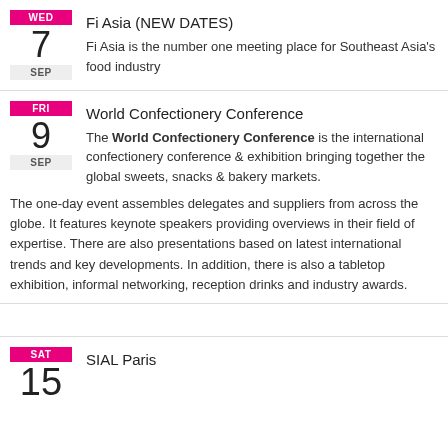Fi Asia (NEW DATES)
Fi Asia is the number one meeting place for Southeast Asia's food industry
World Confectionery Conference
The World Confectionery Conference is the international confectionery conference & exhibition bringing together the global sweets, snacks & bakery markets.
The one-day event assembles delegates and suppliers from across the globe. It features keynote speakers providing overviews in their field of expertise. There are also presentations based on latest international trends and key developments. In addition, there is also a tabletop exhibition, informal networking, reception drinks and industry awards.
SIAL Paris